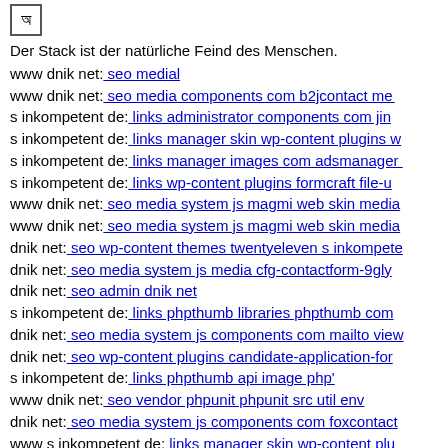[Figure (logo): Small icon with a symbol resembling a Bengali/Devanagari character inside a box with an arrow]
Der Stack ist der natürliche Feind des Menschen.
www dnik net: seo medial
www dnik net: seo media components com b2jcontact med...
s inkompetent de: links administrator components com jin...
s inkompetent de: links manager skin wp-content plugins w...
s inkompetent de: links manager images com adsmanager ...
s inkompetent de: links wp-content plugins formcraft file-u...
www dnik net: seo media system js magmi web skin media...
www dnik net: seo media system js magmi web skin media...
dnik net: seo wp-content themes twentyeleven s inkompete...
dnik net: seo media system js media cfg-contactform-9gly...
dnik net: seo admin dnik net
s inkompetent de: links phpthumb libraries phpthumb com...
dnik net: seo media system js components com mailto view...
dnik net: seo wp-content plugins candidate-application-for...
s inkompetent de: links phpthumb api image php'
www dnik net: seo vendor phpunit phpunit src util env
dnik net: seo media system js components com foxcontact...
www s inkompetent de: links manager skin wp-content plu...
dnik net: seo wp-content themes canvas scripts thumb php...